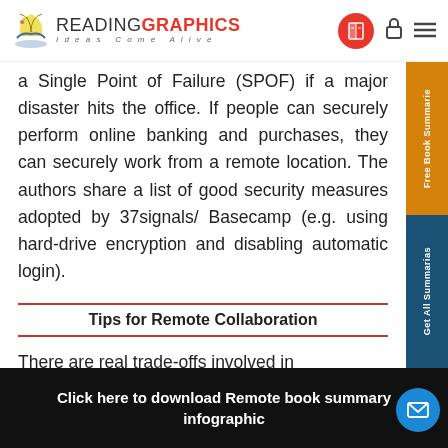READINGRAPHICS — Ideas Come Alive
a Single Point of Failure (SPOF) if a major disaster hits the office. If people can securely perform online banking and purchases, they can securely work from a remote location. The authors share a list of good security measures adopted by 37signals/ Basecamp (e.g. using hard-drive encryption and disabling automatic login).
Tips for Remote Collaboration
There are real trade-offs involved in
Free Book Summarie
Get All Summarias
Click here to download Remote book summary infographic